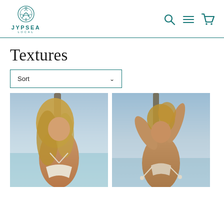[Figure (logo): Jypsea Local brand logo with decorative circular emblem above text]
[Figure (infographic): Navigation icons: search (magnifying glass), hamburger menu, shopping cart in teal color]
Textures
Sort
[Figure (photo): Blonde woman in white/cream bikini top at the beach leaning against a palm tree, smiling, hair blowing in wind, outdoor beach setting with blue sky]
[Figure (photo): Blonde woman in cream string bikini top at beach, arms raised above head near palm tree, outdoor beach setting with blue sky background]